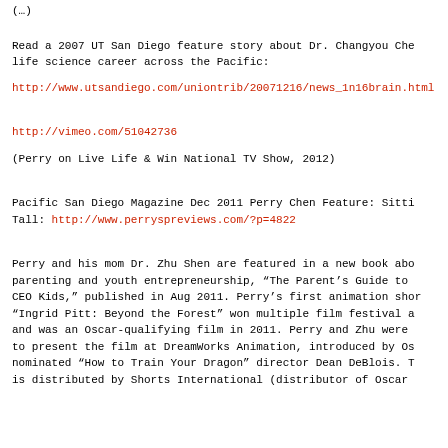( … )
Read a 2007 UT San Diego feature story about Dr. Changyou Che life science career across the Pacific:
http://www.utsandiego.com/uniontrib/20071216/news_1n16brain.html
http://vimeo.com/51042736
(Perry on Live Life & Win National TV Show, 2012)
Pacific San Diego Magazine Dec 2011 Perry Chen Feature: Sitti Tall: http://www.perryspreviews.com/?p=4822
Perry and his mom Dr. Zhu Shen are featured in a new book abo parenting and youth entrepreneurship, “The Parent’s Guide to CEO Kids,” published in Aug 2011. Perry’s first animation shor “Ingrid Pitt: Beyond the Forest” won multiple film festival a and was an Oscar-qualifying film in 2011. Perry and Zhu were to present the film at DreamWorks Animation, introduced by Os nominated “How to Train Your Dragon” director Dean DeBlois. T is distributed by Shorts International (distributor of Oscar